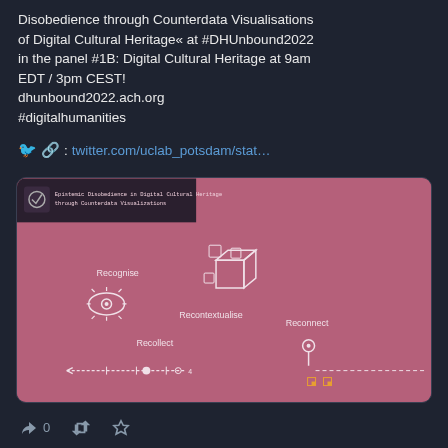Disobedience through Counterdata Visualisations of Digital Cultural Heritage« at #DHUnbound2022 in the panel #1B: Digital Cultural Heritage at 9am EDT / 3pm CEST!
dhunbound2022.ach.org
#digitalhumanities
🐦🔗: twitter.com/uclab_potsdam/stat...
[Figure (infographic): Pink/mauve background infographic with title 'Epistemic Disobedience in Digital Cultural Heritage through Counterdata Visualizations' showing four concepts: Recognise (with eye icon), Recontextualise (with 3D cube), Reconnect (with pin icon), Recollect (with timeline arrows). Various dashed line connectors between elements.]
↩ 0  🔁  ★
Marian Dörk @nrchtct@vis.social  🌐 Mar 11
RT @markjaaan@twitter.com